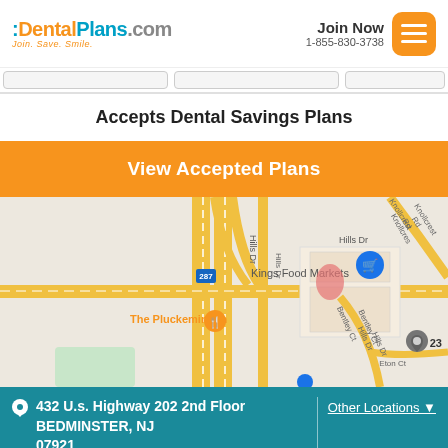:DentalPlans.com Join. Save. Smile. | Join Now 1-855-830-3738
[Figure (screenshot): Navigation button strip with three placeholder nav buttons]
Accepts Dental Savings Plans
View Accepted Plans
[Figure (map): Google Maps view showing Kings Food Markets area in Bedminster NJ, with roads including Hills Dr, Bentley Ct, Eton Ct, Knollcrest Rd, and highway 287. The Pluckemin Inn is labeled. A location pin marker is visible.]
432 U.s. Highway 202 2nd Floor BEDMINSTER, NJ 07921 | Other Locations
Accessibility icon